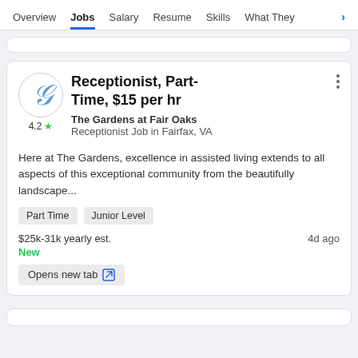Overview  Jobs  Salary  Resume  Skills  What They >
Receptionist, Part-Time, $15 per hr
The Gardens at Fair Oaks
Receptionist Job in Fairfax, VA
Here at The Gardens, excellence in assisted living extends to all aspects of this exceptional community from the beautifully landscape...
Part Time
Junior Level
$25k-31k yearly est.    4d ago
New
Opens new tab